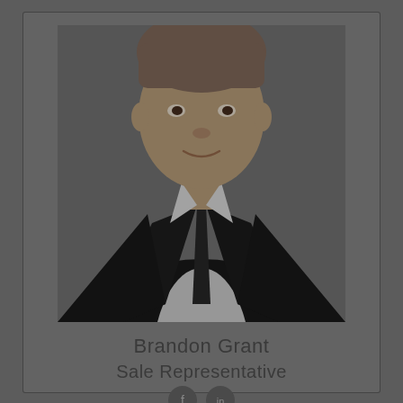[Figure (photo): Professional headshot of a man in a dark suit and tie against a gray background, partially cropped]
Brandon Grant
Sale Representative
[Figure (other): Two small circular social media icon buttons at the bottom of the card]